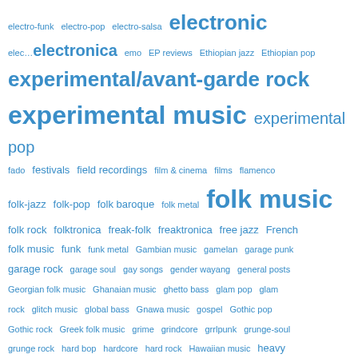[Figure (infographic): A tag cloud / word cloud of music genres in various font sizes, all in blue. Larger text indicates more popular/frequent tags. Tags include: electro-funk, electro-pop, electro-salsa, electronic, electronica, emo, EP reviews, Ethiopian jazz, Ethiopian pop, experimental/avant-garde rock, experimental music, experimental pop, fado, festivals, field recordings, film & cinema, films, flamenco, folk-jazz, folk-pop, folk baroque, folk metal, folk music, folk rock, folktronica, freak-folk, freaktronica, free jazz, French folk music, funk, funk metal, Gambian music, gamelan, garage punk, garage rock, garage soul, gay songs, gender wayang, general posts, Georgian folk music, Ghanaian music, ghetto bass, glam pop, glam rock, glitch music, global bass, Gnawa music, gospel, Gothic pop, Gothic rock, Greek folk music, grime, grindcore, grrlpunk, grunge-soul, grunge rock, hard bop, hardcore, hard rock, Hawaiian music, heavy metal, highlife, Hindi film music, hip hop, hot jazz/Gypsy]